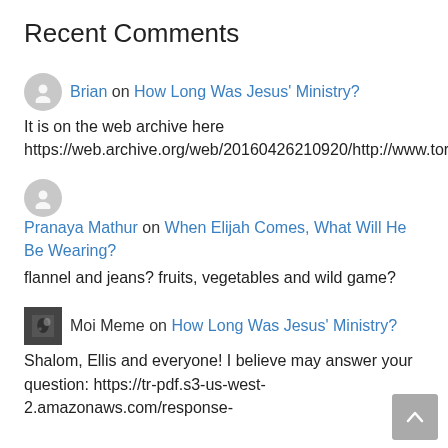Recent Comments
Brian on How Long Was Jesus' Ministry? It is on the web archive here https://web.archive.org/web/20160426210920/http://www.torahresource.com/EnglishArticles/John6.4_Rood_is_Wrong.pdf
Pranaya Mathur on When Elijah Comes, What Will He Be Wearing? flannel and jeans? fruits, vegetables and wild game?
Moi Meme on How Long Was Jesus' Ministry? Shalom, Ellis and everyone! I believe may answer your question: https://tr-pdf.s3-us-west-2.amazonaws.com/response-